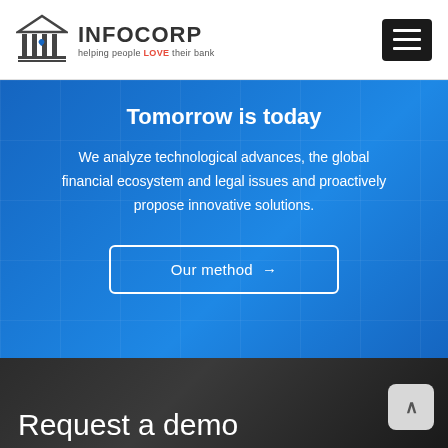[Figure (logo): INFOCORP logo with bank/pillar icon and tagline 'helping people LOVE their bank']
Tomorrow is today
We analyze technological advances, the global financial ecosystem and legal issues and proactively propose innovative solutions.
Our method →
Request a demo